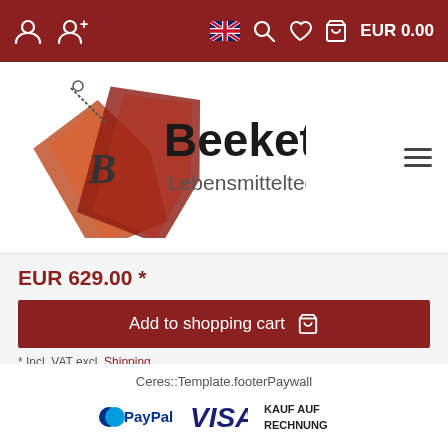EUR 0.00
[Figure (logo): Beeketal Lebensmitteltechnik logo with crossed price tags and brand name]
EUR 629.00 *
Add to shopping cart
* Incl. VAT excl. Shipping
Ceres::Template.footerPaywall
[Figure (logo): Payment method logos: PayPal, VISA, KAUF AUF RECHNUNG, American Express, Mastercard, SEPA Lastschrift, Überweisung]